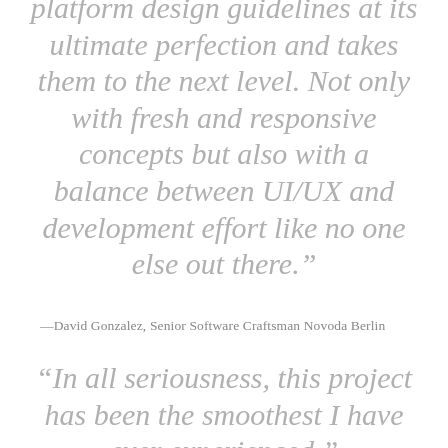platform design guidelines at its ultimate perfection and takes them to the next level. Not only with fresh and responsive concepts but also with a balance between UI/UX and development effort like no one else out there.”
—David Gonzalez, Senior Software Craftsman Novoda Berlin
“In all seriousness, this project has been the smoothest I have ever experienced.”